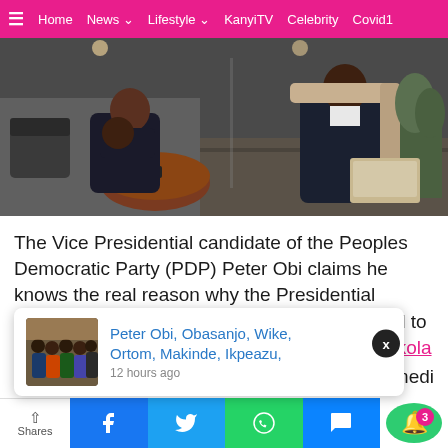≡  Home  News ▾  Lifestyle ▾  KanyiTV  Celebrity  Covid1
[Figure (photo): Two men in dark suits seated in a hotel lobby or lounge, one resting head on hand, round coffee table in foreground, plants visible in background]
The Vice Presidential candidate of the Peoples Democratic Party (PDP) Peter Obi claims he knows the real reason why the Presidential candidate of the party, Atiku Abubakar traveled to Washington DC with the Senate President Bukola Saraki
[Figure (photo): Notification popup card: group photo of men in colorful attire with text 'Peter Obi, Obasanjo, Wike, Ortom, Makinde, Ikpeazu,' and timestamp '12 hours ago']
his medi
Shares  Facebook  Twitter  WhatsApp  Messenger  Notifications (3)